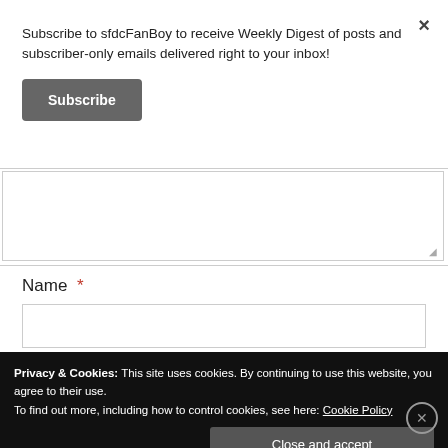Subscribe to sfdcFanBoy to receive Weekly Digest of posts and subscriber-only emails delivered right to your inbox!
Subscribe
Name *
Privacy & Cookies: This site uses cookies. By continuing to use this website, you agree to their use.
To find out more, including how to control cookies, see here: Cookie Policy
Close and accept